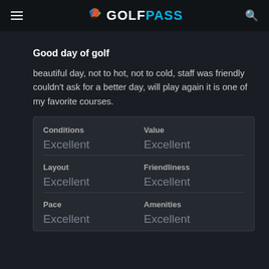GOLFPASS
Good day of golf
beautiful day, not to hot, not to cold, staff was friendly couldn't ask for a better day, will play again it is one of my favorite courses.
| Conditions | Value | Layout | Friendliness | Pace | Amenities |
| --- | --- | --- | --- | --- | --- |
| Excellent | Excellent |
| Excellent | Excellent |
| Excellent | Excellent |